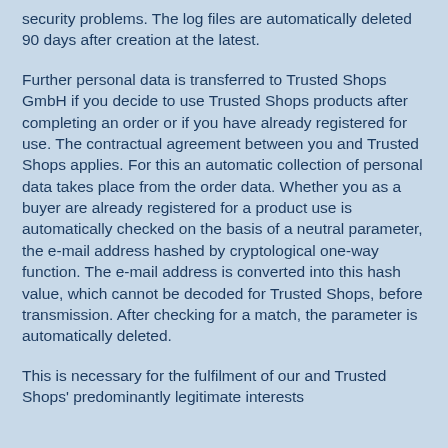security problems. The log files are automatically deleted 90 days after creation at the latest.
Further personal data is transferred to Trusted Shops GmbH if you decide to use Trusted Shops products after completing an order or if you have already registered for use. The contractual agreement between you and Trusted Shops applies. For this an automatic collection of personal data takes place from the order data. Whether you as a buyer are already registered for a product use is automatically checked on the basis of a neutral parameter, the e-mail address hashed by cryptological one-way function. The e-mail address is converted into this hash value, which cannot be decoded for Trusted Shops, before transmission. After checking for a match, the parameter is automatically deleted.
This is necessary for the fulfilment of our and Trusted Shops' predominantly legitimate interests